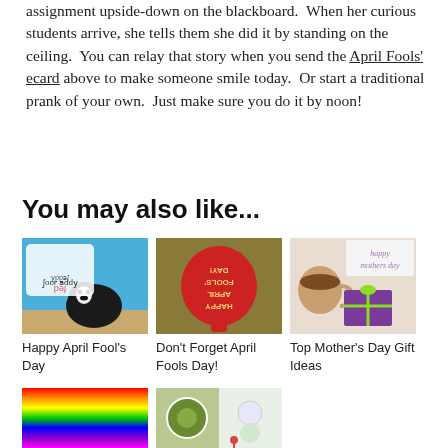assignment upside-down on the blackboard.  When her curious students arrive, she tells them she did it by standing on the ceiling.  You can relay that story when you send the April Fools' ecard above to make someone smile today.  Or start a traditional prank of your own.  Just make sure you do it by noon!
You may also like...
[Figure (photo): Happy April Fool's Day card with a Boston Terrier dog on a blue background]
Happy April Fool's Day
[Figure (photo): Red ping pong paddle with 'Happy April Fools Day!' text written on it]
Don't Forget April Fools Day!
[Figure (photo): Coffee cup and purple gift box with green ribbon next to a 'happy mothers day' card]
Top Mother's Day Gift Ideas
[Figure (photo): Colorful rainbow gradient image]
[Figure (photo): Two small food/table setting images side by side]